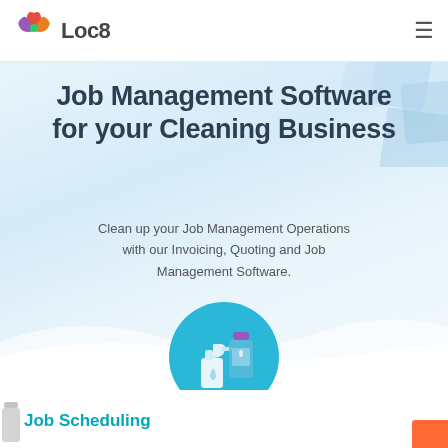Loc8
Job Management Software for your Cleaning Business
Clean up your Job Management Operations with our Invoicing, Quoting and Job Management Software.
[Figure (illustration): Circular teal icon with cleaning spray bottle and laundry detergent bottle illustrations]
Job Scheduling